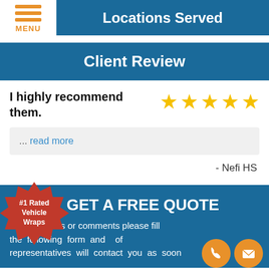Locations Served
Client Review
I highly recommend them.
[Figure (infographic): Five gold star rating icons]
... read more
- Nefi HS
[Figure (infographic): Red starburst badge reading '#1 Rated Vehicle Wraps']
GET A FREE QUOTE
any questions or comments please fill the following form and of representatives will contact you as soon